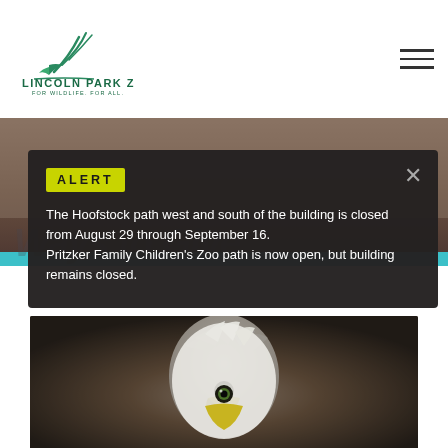[Figure (logo): Lincoln Park Zoo logo with stylized bird/branch graphic in teal/green, text 'LINCOLN PARK ZOO.' and tagline 'FOR WILDLIFE. FOR ALL.']
[Figure (photo): Hero banner with animal photo (brown fur visible), teal accent bar at bottom]
ALERT
The Hoofstock path west and south of the building is closed from August 29 through September 16.
Pritzker Family Children's Zoo path is now open, but building remains closed.
Ways to Give
[Figure (photo): Close-up photo of a bald eagle head, showing white feathers and yellow beak/eye]